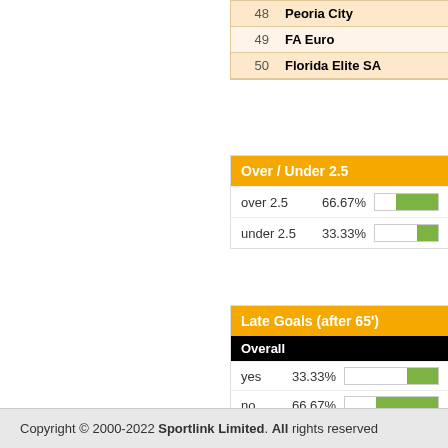| # | Team |
| --- | --- |
| 48 | Peoria City |
| 49 | FA Euro |
| 50 | Florida Elite SA |
Over / Under 2.5
| Label | Percentage | Bar |
| --- | --- | --- |
| over 2.5 | 66.67% |  |
| under 2.5 | 33.33% |  |
Late Goals (after 65')
Overall
| Label | Percentage | Bar |
| --- | --- | --- |
| yes | 33.33% |  |
| no | 66.67% |  |
Scored Late
| Label | Percentage | Bar |
| --- | --- | --- |
| yes | 16.67% |  |
| no | 83.33% |  |
Conceeded Late
| Label | Percentage | Bar |
| --- | --- | --- |
| yes | 33.33% |  |
| no | 66.67% |  |
Copyright © 2000-2022 Sportlink Limited. All rights reserved